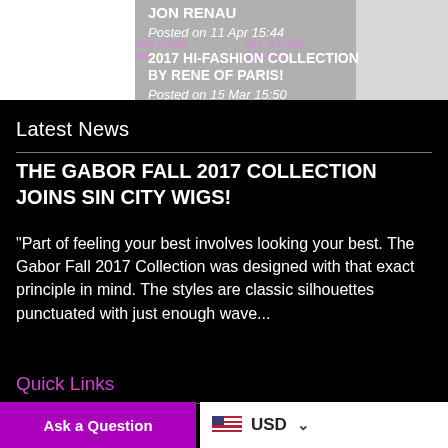RAQUE... | JON RENAU | PROMO CODE 40NOW | ALL OTHER COLLE... | PROMO CODE SAVENOW
JON RENAU
Posted on 11 Apr 15:44
2017 HI-FASHION COLLECTION BY RENE OF PARIS!
Posted on 15 Mar 15:50
Latest News
THE GABOR FALL 2017 COLLECTION JOINS SIN CITY WIGS!
“Part of feeling your best involves looking your best.  The Gabor Fall 2017 Collection was designed with that exact principle in mind.  The styles are classic silhouettes punctuated with just enough wave...
Quick Links
Ask a Question
USD